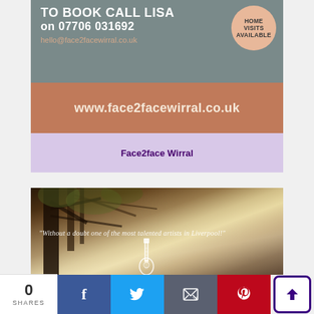[Figure (infographic): Face2face Wirral advertisement card with grey top section showing contact info: TO BOOK CALL LISA on 07706 031692, hello@face2facewirral.co.uk, with a peach circle badge saying HOME VISITS AVAILABLE, and a copper/terracotta band showing www.face2facewirral.co.uk]
Face2face Wirral
[Figure (photo): Forest/woodland scene with trees and misty light, overlaid with italic white text quote: 'Without a doubt one of the most talented artists in Liverpool!' and a guitar icon at the bottom center]
0 SHARES
[Figure (infographic): Social share bar with Facebook (blue), Twitter (light blue), Email (grey), Pinterest (red) buttons and an upvote button]